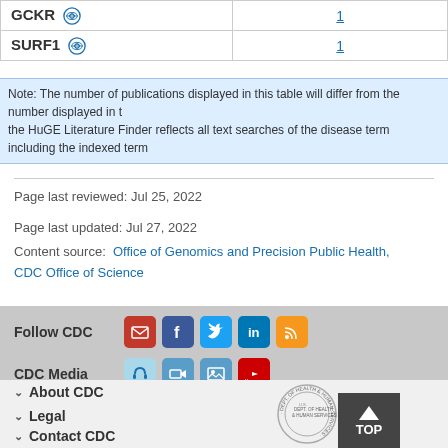| Gene | Publications |
| --- | --- |
| GCKR | 1 |
| SURF1 | 1 |
Note: The number of publications displayed in this table will differ from the number displayed in the HuGE Literature Finder reflects all text searches of the disease term including the indexed term
Page last reviewed: Jul 25, 2022
Page last updated: Jul 27, 2022
Content source:  Office of Genomics and Precision Public Health, CDC Office of Science
Follow CDC
CDC Media
About CDC
Legal
Contact CDC